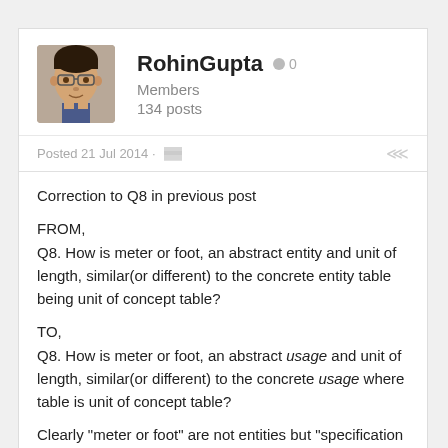RohinGupta  0
Members
134 posts
Posted 21 Jul 2014 ·
Correction to Q8 in previous post

FROM,
Q8. How is meter or foot, an abstract entity and unit of length, similar(or different) to the concrete entity table being unit of concept table?

TO,
Q8. How is meter or foot, an abstract usage and unit of length, similar(or different) to the concrete usage where table is unit of concept table?

Clearly "meter or foot" are not entities but "specification of